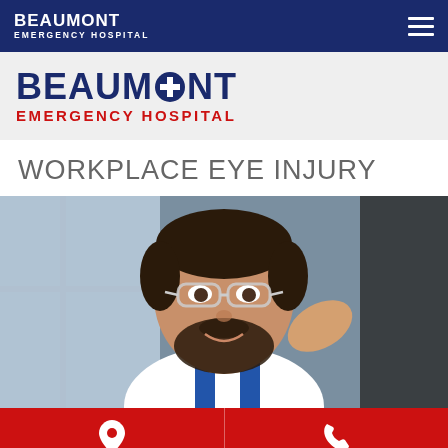BEAUMONT EMERGENCY HOSPITAL
[Figure (logo): Beaumont Emergency Hospital logo with blue cross icon, large blue BEAUMONT text and red EMERGENCY HOSPITAL text]
WORKPLACE EYE INJURY
[Figure (photo): A smiling bearded man in a white shirt and work overalls adjusting clear safety glasses/goggles with a gloved hand, photographed indoors with a window in the background]
Location and phone contact buttons